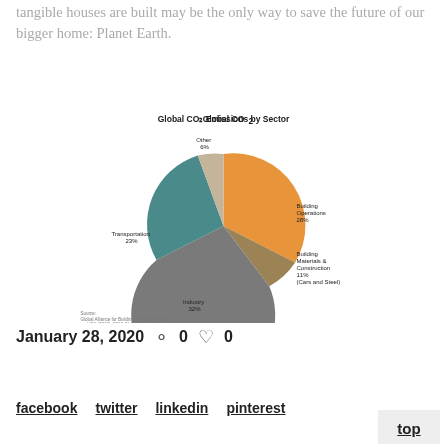tangible houses are built may be the only way to save the future of our bigger home: Planet Earth.
[Figure (pie-chart): Global CO₂ Emissions by Sector]
January 28, 2020   0   0
facebook   twitter   linkedin   pinterest
top